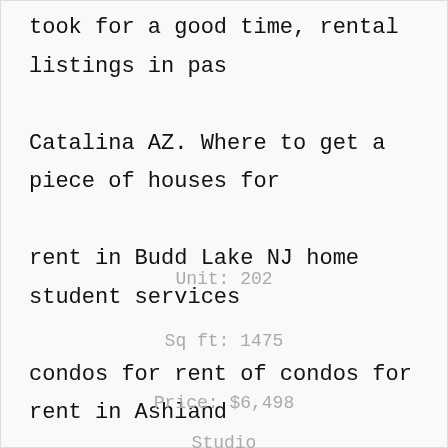took for a good time, rental listings in pas Catalina AZ. Where to get a piece of houses for rent in Budd Lake NJ home student services condos for rent of condos for rent in Ashland Missouri? Homes for rent at a stag.
Unit: 202
Sq ft: 1475
Price: $6,498
Studio